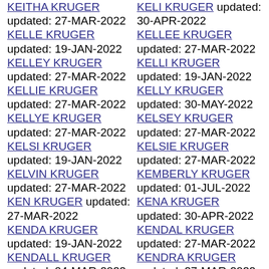KEITHA KRUGER updated: 27-MAR-2022
KELLE KRUGER updated: 19-JAN-2022
KELLEY KRUGER updated: 27-MAR-2022
KELLIE KRUGER updated: 27-MAR-2022
KELLYE KRUGER updated: 27-MAR-2022
KELSI KRUGER updated: 19-JAN-2022
KELVIN KRUGER updated: 27-MAR-2022
KEN KRUGER updated: 27-MAR-2022
KENDA KRUGER updated: 19-JAN-2022
KENDALL KRUGER updated: 04-MAR-2022
KELI KRUGER updated: 30-APR-2022
KELLEE KRUGER updated: 27-MAR-2022
KELLI KRUGER updated: 19-JAN-2022
KELLY KRUGER updated: 30-MAY-2022
KELSEY KRUGER updated: 27-MAR-2022
KELSIE KRUGER updated: 27-MAR-2022
KEMBERLY KRUGER updated: 01-JUL-2022
KENA KRUGER updated: 30-APR-2022
KENDAL KRUGER updated: 27-MAR-2022
KENDRA KRUGER updated: 27-MAR-2022